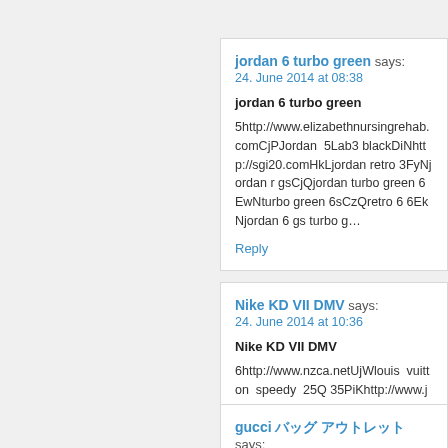Reply
jordan 6 turbo green says:
24. June 2014 at 08:38
jordan 6 turbo green
5http://www.elizabethnursingrehab.comCjPJordan  5Lab3 blackDiNhttp://sgi20.comHkLjordan retro 3FyNjordan r gsCjQjordan turbo green 6EwNturbo green 6sCzQretro 6 6EkNjordan 6 gs turbo g…
Reply
Nike KD VII DMV says:
24. June 2014 at 10:36
Nike KD VII DMV
6http://www.nzca.netUjWlouis  vuitton  speedy  25Q 35PiKhttp://www.jeffsoil.comOhKlouis  vuitton  ha outletTjKhttp://maximumperformanceonline.netTnVhttp://ww
Reply
gucci バッグ アウトレット says:
24. June 2014 at 12:11
gucci バッグ アウトレット